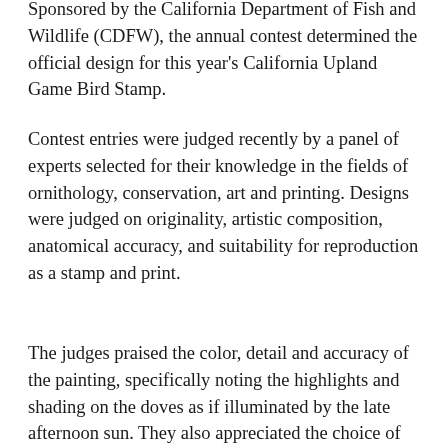Sponsored by the California Department of Fish and Wildlife (CDFW), the annual contest determined the official design for this year's California Upland Game Bird Stamp.
Contest entries were judged recently by a panel of experts selected for their knowledge in the fields of ornithology, conservation, art and printing. Designs were judged on originality, artistic composition, anatomical accuracy, and suitability for reproduction as a stamp and print.
The judges praised the color, detail and accuracy of the painting, specifically noting the highlights and shading on the doves as if illuminated by the late afternoon sun. They also appreciated the choice of background, which reminded them of agricultural areas in California where doves are commonly seen, and the uniqueness